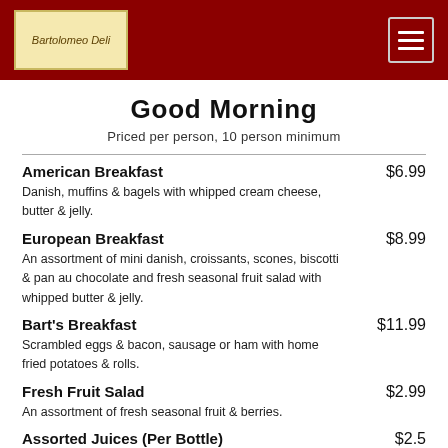Bartolomeo Deli
Good Morning
Priced per person, 10 person minimum
American Breakfast $6.99 — Danish, muffins & bagels with whipped cream cheese, butter & jelly.
European Breakfast $8.99 — An assortment of mini danish, croissants, scones, biscotti & pan au chocolate and fresh seasonal fruit salad with whipped butter & jelly.
Bart's Breakfast $11.99 — Scrambled eggs & bacon, sausage or ham with home fried potatoes & rolls.
Fresh Fruit Salad $2.99 — An assortment of fresh seasonal fruit & berries.
Assorted Juices (Per Bottle) $2.5